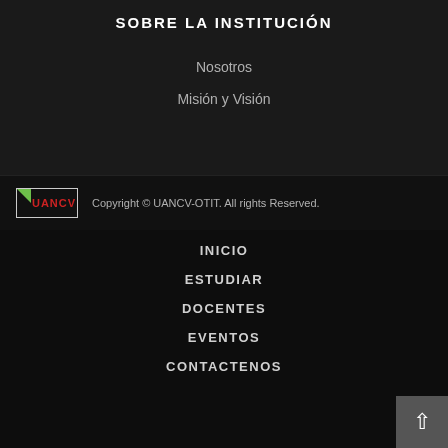SOBRE LA INSTITUCIÓN
Nosotros
Misión y Visión
Copyright © UANCV-OTIT.  All rights Reserved.
INICIO
ESTUDIAR
DOCENTES
EVENTOS
CONTACTENOS